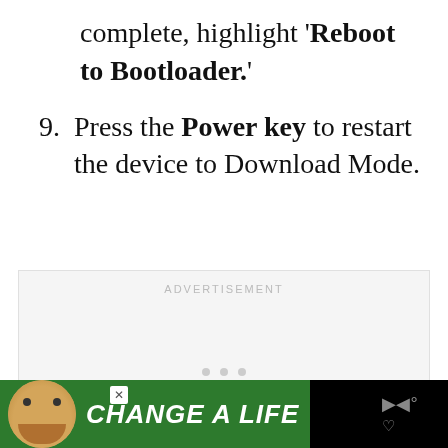complete, highlight 'Reboot to Bootloader.'
9. Press the Power key to restart the device to Download Mode.
[Figure (other): Advertisement placeholder box with 'ADVERTISEMENT' label in light gray]
[Figure (other): Footer advertisement banner: green background with dog image and 'CHANGE A LIFE' text, close button, and speaker icon on black background]